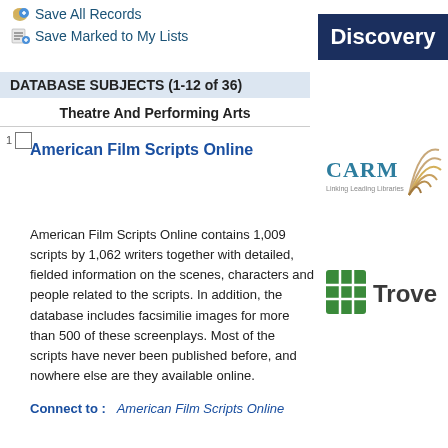Save All Records
Save Marked to My Lists
DATABASE SUBJECTS (1-12 of 36)
Theatre And Performing Arts
[Figure (logo): Discovery dark blue banner/badge with white text reading 'Discovery']
American Film Scripts Online
American Film Scripts Online contains 1,009 scripts by 1,062 writers together with detailed, fielded information on the scenes, characters and people related to the scripts. In addition, the database includes facsimilie images for more than 500 of these screenplays. Most of the scripts have never been published before, and nowhere else are they available online.
[Figure (logo): CARM logo with text 'Linking Leading Libraries' and a fan/leaf graphic]
[Figure (logo): Trove logo with green grid icon and dark text 'Trove']
Connect to :   American Film Scripts Online